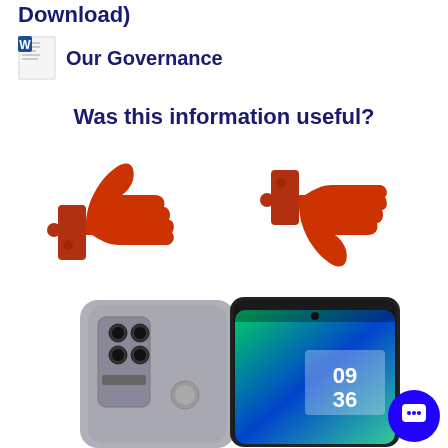Download)
Our Governance
Was this information useful?
[Figure (illustration): Thumbs up icon (orange/red) and thumbs down icon (orange/red) side by side, representing yes/no feedback buttons]
[Figure (photo): Smartphone shown from back and front angles, silver/grey color, displaying time 09:36 on screen]